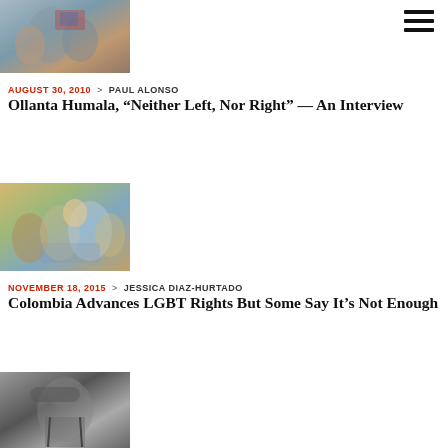[Figure (photo): Photo of crowd of people with flags, appears to be a political rally]
AUGUST 30, 2010 > PAUL ALONSO
Ollanta Humala, “Neither Left, Nor Right” — An Interview
[Figure (photo): Photo of a group of young people sitting together outdoors, colorfully dressed]
NOVEMBER 18, 2015 > JESSICA DIAZ-HURTADO
Colombia Advances LGBT Rights But Some Say It’s Not Enough
[Figure (photo): Black and white photo of a military officer in uniform saluting]